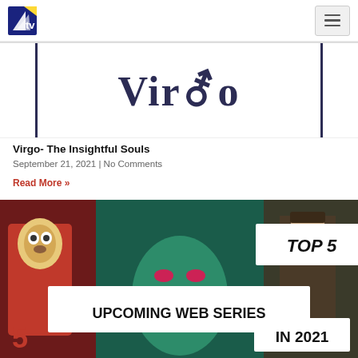tv (logo) | hamburger menu
[Figure (illustration): Virgo text in dark serif font with decorative symbol, on white background with dark vertical border lines on left and right]
Virgo- The Insightful Souls
September 21, 2021 | No Comments
Read More »
[Figure (photo): Promotional image showing TOP 5 UPCOMING WEB SERIES IN 2021 with television/film characters in background including masked figure, woman, and man in cap]